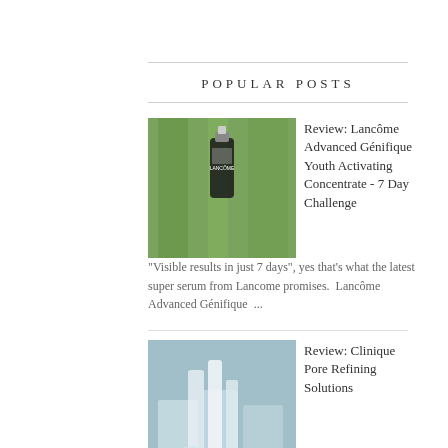POPULAR POSTS
Review: Lancôme Advanced Génifique Youth Activating Concentrate - 7 Day Challenge
"Visible results in just 7 days", yes that's what the latest super serum from Lancome promises.  Lancôme Advanced Génifique  ...
Review: Clinique Pore Refining Solutions
  I've had visible medium-sized pores for as long as I can remember. I've actually given up hope on ever having a smooth comple...
L'Oréal Professionnel Majirel Cool Cover